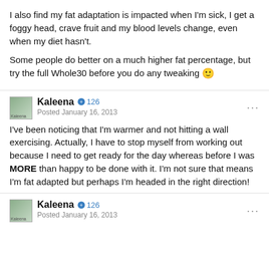I also find my fat adaptation is impacted when I'm sick, I get a foggy head, crave fruit and my blood levels change, even when my diet hasn't.

Some people do better on a much higher fat percentage, but try the full Whole30 before you do any tweaking 🙂
Kaleena  ⊕ 126
Posted January 16, 2013
I've been noticing that I'm warmer and not hitting a wall exercising. Actually, I have to stop myself from working out because I need to get ready for the day whereas before I was MORE than happy to be done with it. I'm not sure that means I'm fat adapted but perhaps I'm headed in the right direction!
Kaleena  ⊕ 126
Posted January 16, 2013